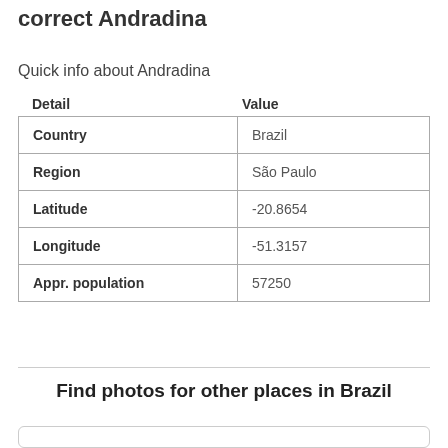correct Andradina
Quick info about Andradina
| Detail | Value |
| --- | --- |
| Country | Brazil |
| Region | São Paulo |
| Latitude | -20.8654 |
| Longitude | -51.3157 |
| Appr. population | 57250 |
Find photos for other places in Brazil